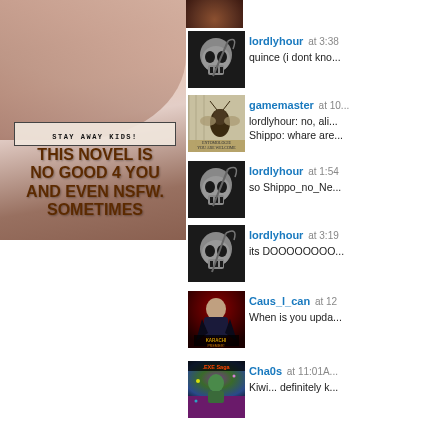[Figure (illustration): Book cover warning image with text overlay. Background shows skin tones. Text reads: 'STAY AWAY KIDS! THIS NOVEL IS NO GOOD 4 YOU AND EVEN NSFW. SOMETIMES']
[Figure (photo): Avatar thumbnail - small dark image at top right, partial view of hamburger or food item]
lordlyhour at 3:38... quince (i dont kno...
[Figure (illustration): Avatar - skull grim reaper illustration]
gamemaster at 10:... lordlyhour: no, ali... Shippo: whare are...
[Figure (illustration): Avatar - insect/bug illustration with book cover background]
lordlyhour at 1:54... so Shippo_no_Ne...
[Figure (illustration): Avatar - skull grim reaper illustration]
lordlyhour at 3:19... its DOOOOOOOO...
[Figure (illustration): Avatar - skull grim reaper illustration]
Caus_l_can at 12... When is you upda...
[Figure (photo): Avatar - vampire/dark figure with text 'KARACHI PREMIER']
Cha0s at 11:01A... Kiwi... definitely k...
[Figure (illustration): Avatar - EXE Saga game cover illustration with colorful characters]